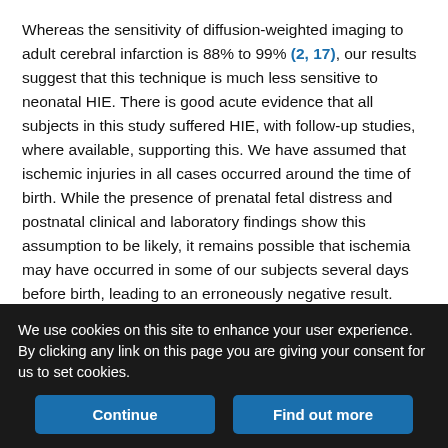Whereas the sensitivity of diffusion-weighted imaging to adult cerebral infarction is 88% to 99% (2, 17), our results suggest that this technique is much less sensitive to neonatal HIE. There is good acute evidence that all subjects in this study suffered HIE, with follow-up studies, where available, supporting this. We have assumed that ischemic injuries in all cases occurred around the time of birth. While the presence of prenatal fetal distress and postnatal clinical and laboratory findings show this assumption to be likely, it remains possible that ischemia may have occurred in some of our subjects several days before birth, leading to an erroneously negative result.
Differences between the water content of the neonatal and adult
We use cookies on this site to enhance your user experience. By clicking any link on this page you are giving your consent for us to set cookies.